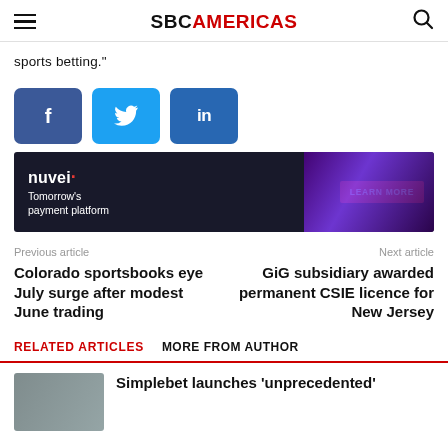SBCAMERICAS
sports betting."
[Figure (infographic): Social media share buttons: Facebook (f), Twitter (bird), LinkedIn (in)]
[Figure (infographic): Nuvei advertisement banner: Tomorrow's payment platform - LEARN MORE]
Previous article
Colorado sportsbooks eye July surge after modest June trading
Next article
GiG subsidiary awarded permanent CSIE licence for New Jersey
RELATED ARTICLES   MORE FROM AUTHOR
Simplebet launches 'unprecedented'